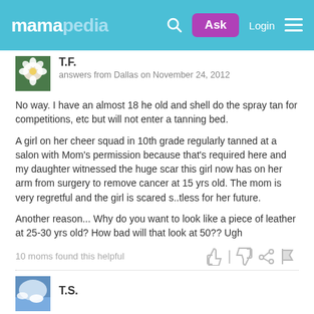mamapedia — Ask | Login
T.F.
answers from Dallas on November 24, 2012
No way. I have an almost 18 he old and shell do the spray tan for competitions, etc but will not enter a tanning bed.
A girl on her cheer squad in 10th grade regularly tanned at a salon with Mom's permission because that's required here and my daughter witnessed the huge scar this girl now has on her arm from surgery to remove cancer at 15 yrs old. The mom is very regretful and the girl is scared s..tless for her future.
Another reason... Why do you want to look like a piece of leather at 25-30 yrs old? How bad will that look at 50?? Ugh
10 moms found this helpful
T.S.